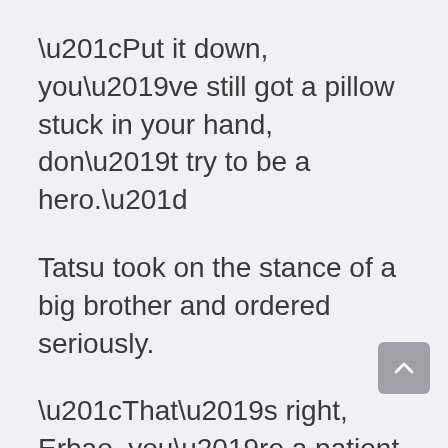“Put it down, you’ve still got a pillow stuck in your hand, don’t try to be a hero.”
Tatsu took on the stance of a big brother and ordered seriously.
“That’s right, Erbao, you’re a patient now, so be careful, okay?”
Yue Yue also furrowed her little brow and lectured Long Long.
“Okay.” Long Long beamed and continued to drink the porridge, and